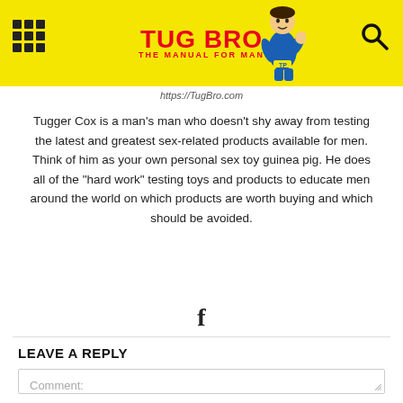[Figure (logo): TUG BRO – THE MANUAL FOR MAN logo with yellow background, red text, cartoon superhero figure, grid menu icon, and search icon]
https://TugBro.com
Tugger Cox is a man's man who doesn't shy away from testing the latest and greatest sex-related products available for men. Think of him as your own personal sex toy guinea pig. He does all of the "hard work" testing toys and products to educate men around the world on which products are worth buying and which should be avoided.
[Figure (logo): Facebook icon (f)]
LEAVE A REPLY
Comment: